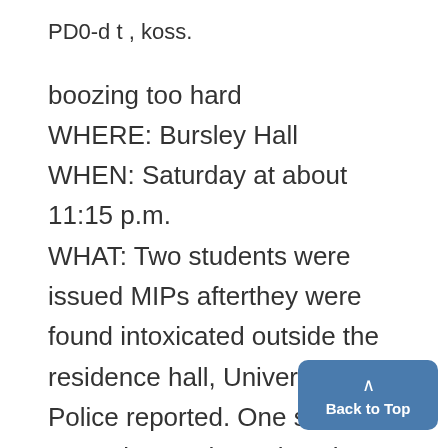PD0-d t , koss.
boozing too hard
WHERE: Bursley Hall
WHEN: Saturday at about 11:15 p.m.
WHAT: Two students were issued MIPs afterthey were found intoxicated outside the residence hall, University Police reported. One student was taken to the University Hospital for treatment.